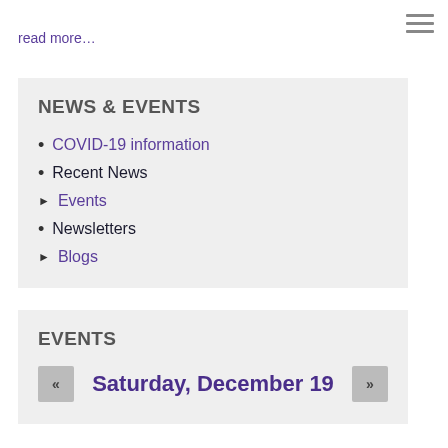read more...
NEWS & EVENTS
COVID-19 information
Recent News
Events
Newsletters
Blogs
EVENTS
Saturday, December 19